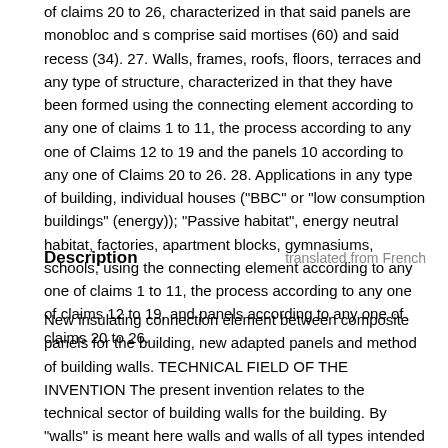of claims 20 to 26, characterized in that said panels are monobloc and s comprise said mortises (60) and said recess (34). 27. Walls, frames, roofs, floors, terraces and any type of structure, characterized in that they have been formed using the connecting element according to any one of claims 1 to 11, the process according to any one of Claims 12 to 19 and the panels 10 according to any one of Claims 20 to 26. 28. Applications in any type of building, individual houses ("BBC" or "low consumption buildings" (energy)); "Passive habitat", energy neutral habitat, factories, apartment blocks, gymnasiums, schools, using the connecting element according to any one of claims 1 to 11, the process according to any one of claims 12 to 19, and panels according to any one of claims 20 to 26.
Description
translated from French
New insulating connection element between composite panels for the building, new adapted panels and method of building walls. TECHNICAL FIELD OF THE INVENTION The present invention relates to the technical sector of building walls for the building. By "walls" is meant here walls and walls of all types intended for the construction of buildings ("BBC" or "low-energy" buildings), thus buildings with very